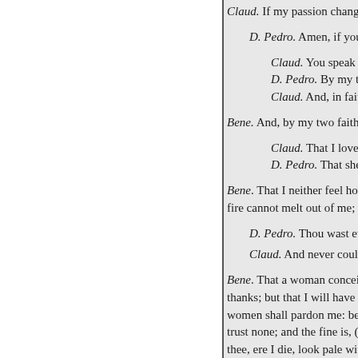Claud. If my passion change not—
D. Pedro. Amen, if you love h—
Claud. You speak this to fe—
D. Pedro. By my troth, I sp—
Claud. And, in faith, my lo—
Bene. And, by my two faiths a—
Claud. That I love her, I fee—
D. Pedro. That she is worth—
Bene. That I neither feel how she— fire cannot melt out of me; I will—
D. Pedro. Thou wast ever an o—
Claud. And never could maint—
Bene. That a woman conceived m— thanks; but that I will have a rec— women shall pardon me: because— trust none; and the fine is, (for th— thee, ere I die, look pale with lov—
Bene. With anger, with sickness,— with love, than I will get again w—